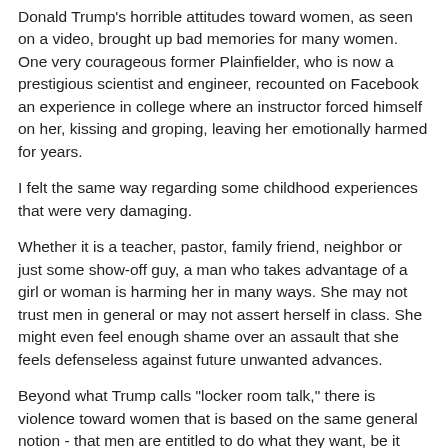Donald Trump's horrible attitudes toward women, as seen on a video, brought up bad memories for many women. One very courageous former Plainfielder, who is now a prestigious scientist and engineer, recounted on Facebook an experience in college where an instructor forced himself on her, kissing and groping, leaving her emotionally harmed for years.
I felt the same way regarding some childhood experiences that were very damaging.
Whether it is a teacher, pastor, family friend, neighbor or just some show-off guy, a man who takes advantage of a girl or woman is harming her in many ways. She may not trust men in general or may not assert herself in class. She might even feel enough shame over an assault that she feels defenseless against future unwanted advances.
Beyond what Trump calls "locker room talk," there is violence toward women that is based on the same general notion - that men are entitled to do what they want, be it harassment or actual physical harm. During the 1980s there was a